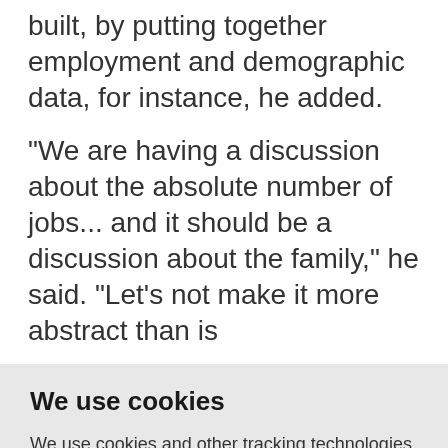built, by putting together employment and demographic data, for instance, he added.
"We are having a discussion about the absolute number of jobs... and it should be a discussion about the family," he said. "Let's not make it more abstract than is
We use cookies
We use cookies and other tracking technologies to improve your browsing experience on our website, to show you personalized content and targeted ads, to analyze our website traffic, and to understand where our visitors are coming from.